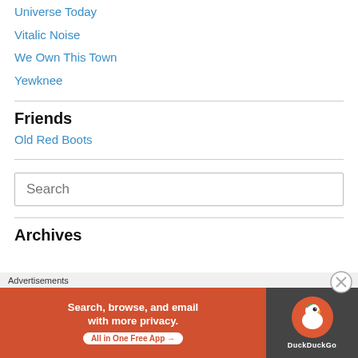Universe Today
Vitalic Noise
We Own This Town
Yewknee
Friends
Old Red Boots
Search
Archives
[Figure (infographic): DuckDuckGo advertisement banner: 'Search, browse, and email with more privacy. All in One Free App' with DuckDuckGo logo on dark background. Labeled 'Advertisements'. Has a close (X) button.]